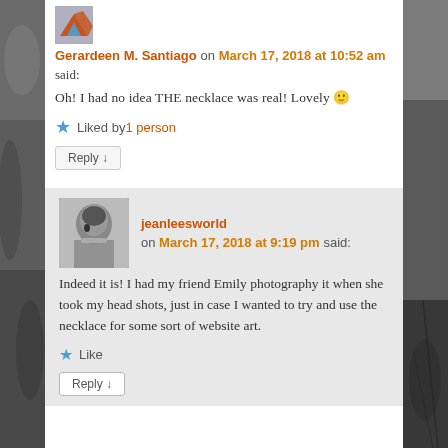[Figure (photo): Avatar image of Gerardeen M. Santiago (decorative logo/avatar with orange/blue design)]
Gerardeen M. Santiago on March 17, 2018 at 10:52 am said:
Oh! I had no idea THE necklace was real! Lovely 🙂
Liked by 1 person
Reply ↓
[Figure (photo): Black and white avatar photo of jeanleesworld, a person holding something to their face]
jeanleesworld on March 17, 2018 at 9:19 pm said:
Indeed it is! I had my friend Emily photography it when she took my head shots, just in case I wanted to try and use the necklace for some sort of website art.
Like
Reply ↓